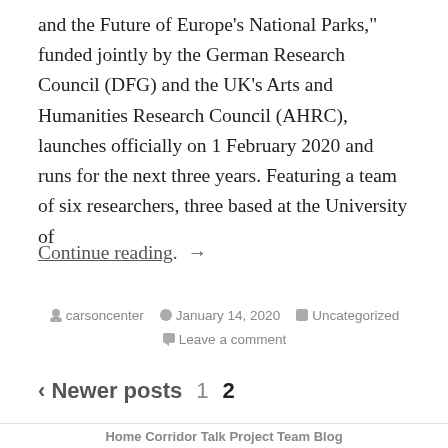and the Future of Europe's National Parks," funded jointly by the German Research Council (DFG) and the UK's Arts and Humanities Research Council (AHRC), launches officially on 1 February 2020 and runs for the next three years. Featuring a team of six researchers, three based at the University of
Continue reading. →
Posted by carsoncenter  January 14, 2020  Uncategorized  Leave a comment
< Newer posts  1  2
Home  Corridor Talk  Project Team  Blog